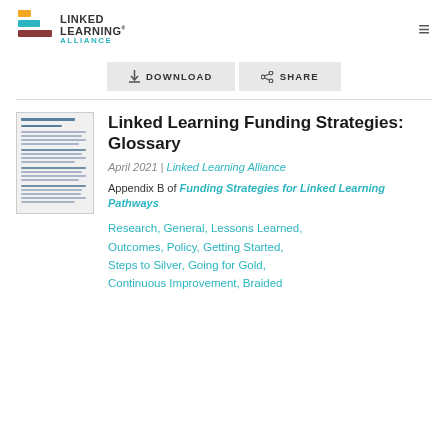[Figure (logo): Linked Learning Alliance logo with stylized L mark and text]
DOWNLOAD   SHARE
Linked Learning Funding Strategies: Glossary
April 2021 | Linked Learning Alliance
Appendix B of Funding Strategies for Linked Learning Pathways
Research, General, Lessons Learned, Outcomes, Policy, Getting Started, Steps to Silver, Going for Gold, Continuous Improvement, Braided